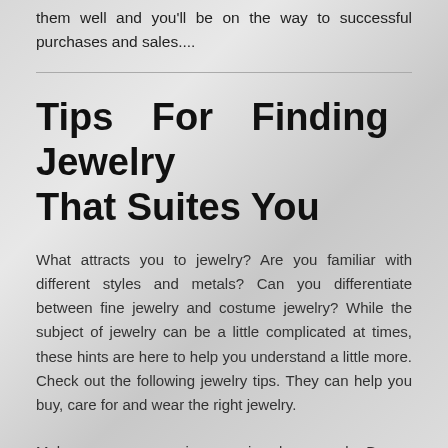them well and you'll be on the way to successful purchases and sales....
Tips For Finding Jewelry That Suites You
What attracts you to jewelry? Are you familiar with different styles and metals? Can you differentiate between fine jewelry and costume jewelry? While the subject of jewelry can be a little complicated at times, these hints are here to help you understand a little more. Check out the following jewelry tips. They can help you buy, care for and wear the right jewelry.
Make sure you organize your jewelry properly. Boxes, holders,